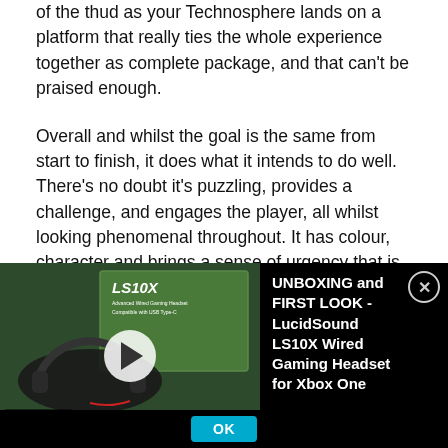of the thud as your Technosphere lands on a platform that really ties the whole experience together as complete package, and that can't be praised enough.
Overall and whilst the goal is the same from start to finish, it does what it intends to do well. There's no doubt it's puzzling, provides a challenge, and engages the player, all whilst looking phenomenal throughout. It has colour, character and brings a sense of urgency that is rarely seen in even most blockbuster titles. Sure, it would have been a lot more interesting to see each forced restart from 'lives' lost cost time, or any time lost through death being non-refundable, but on
[Figure (screenshot): Video overlay at bottom of page showing UNBOXING and FIRST LOOK - LucidSound LS10X Wired Gaming Headset for Xbox One, with thumbnail of headset product on left, play button in center of thumbnail, video title text on right in white on black background, and OK button at bottom.]